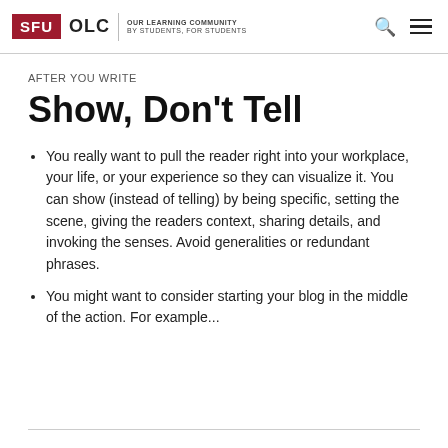SFU OLC | OUR LEARNING COMMUNITY BY STUDENTS, FOR STUDENTS
AFTER YOU WRITE
Show, Don't Tell
You really want to pull the reader right into your workplace, your life, or your experience so they can visualize it. You can show (instead of telling) by being specific, setting the scene, giving the readers context, sharing details, and invoking the senses. Avoid generalities or redundant phrases.
You might want to consider starting your blog in the middle of the action. For example...